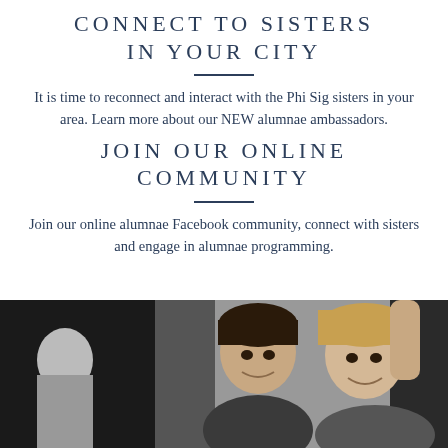CONNECT TO SISTERS IN YOUR CITY
It is time to reconnect and interact with the Phi Sig sisters in your area. Learn more about our NEW alumnae ambassadors.
JOIN OUR ONLINE COMMUNITY
Join our online alumnae Facebook community, connect with sisters and engage in alumnae programming.
[Figure (photo): Black and white photo of two smiling young women, one with dark hair and one with blonde hair, appearing to celebrate with arm raised]